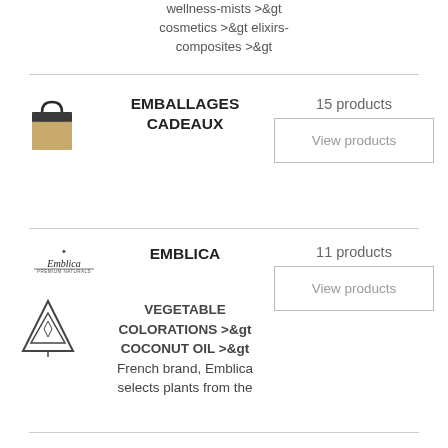wellness-mists >&gt cosmetics >&gt elixirs-composites >&gt
[Figure (photo): Brown kraft paper gift bag with dark blue/black handles]
EMBALLAGES CADEAUX
15 products
View products
[Figure (logo): Emblica brand logo text with small decorative element]
EMBLICA
11 products
View products
[Figure (logo): Triangular mountain/tree logo mark]
VEGETABLE COLORATIONS >&gt COCONUT OIL >&gt French brand, Emblica selects plants from the